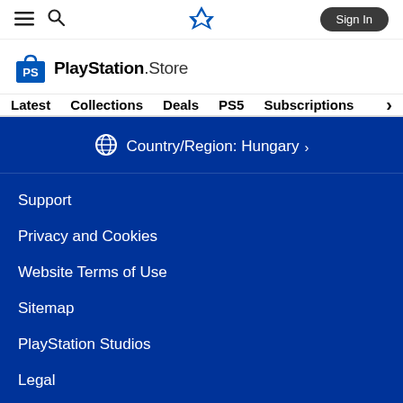☰ 🔍 [PlayStation Logo] Sign In
[Figure (logo): PlayStation Store logo with shopping bag icon and text 'PlayStation Store']
Latest   Collections   Deals   PS5   Subscriptions >
Country/Region: Hungary >
Support
Privacy and Cookies
Website Terms of Use
Sitemap
PlayStation Studios
Legal
About SIE